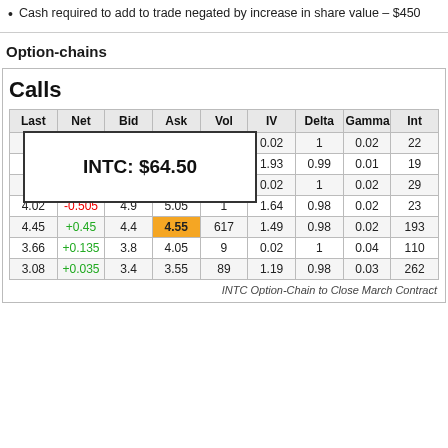Cash required to add to trade negated by increase in share value – $450
Option-chains
| Last | Net | Bid | Ask | Vol | IV | Delta | Gamma | Int |
| --- | --- | --- | --- | --- | --- | --- | --- | --- |
| 6.4 |  |  |  | 52 | 0.02 | 1 | 0.02 | 22 |
| 4.8 |  |  |  | 6 | 1.93 | 0.99 | 0.01 | 19 |
| 5.4 |  |  |  | 1 | 0.02 | 1 | 0.02 | 29 |
| 4.02 | -0.505 | 4.9 | 5.05 | 1 | 1.64 | 0.98 | 0.02 | 23 |
| 4.45 | +0.45 | 4.4 | 4.55 | 617 | 1.49 | 0.98 | 0.02 | 193 |
| 3.66 | +0.135 | 3.8 | 4.05 | 9 | 0.02 | 1 | 0.04 | 110 |
| 3.08 | +0.035 | 3.4 | 3.55 | 89 | 1.19 | 0.98 | 0.03 | 262 |
[Figure (other): Tooltip overlay showing INTC: $64.50]
INTC Option-Chain to Close March Contract